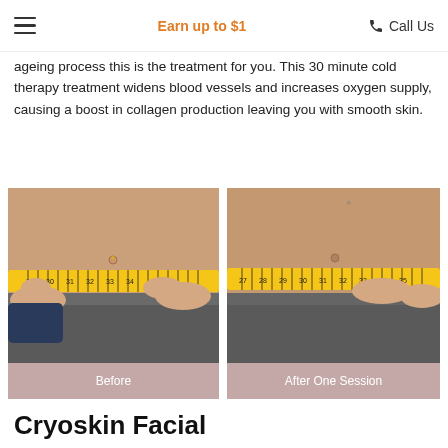Earn up to $1   Call Us
ageing process this is the treatment for you. This 30 minute cold therapy treatment widens blood vessels and increases oxygen supply, causing a boost in collagen production leaving you with smooth skin.
[Figure (photo): Before photo: person's midsection with measuring tape wrapped around abdomen, showing belly button piercing, measured by hands]
[Figure (photo): After One Session photo: person's midsection with measuring tape wrapped around abdomen, showing belly button, measured by hands — visibly slimmer]
Before
After One Session
Cryoskin Facial